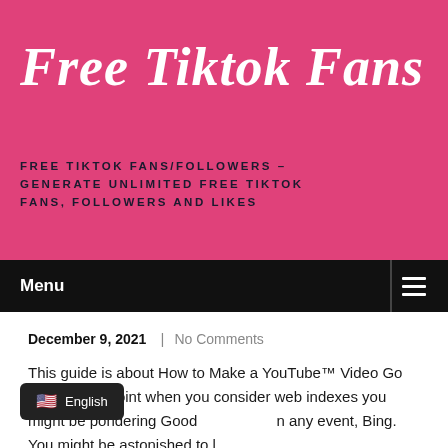Free Tiktok Fans
FREE TIKTOK FANS/FOLLOWERS – GENERATE UNLIMITED FREE TIKTOK FANS, FOLLOWERS AND LIKES
Menu
December 9, 2021  |  No Comments
This guide is about How to Make a YouTube™ Video Go Viral. At the point when you consider web indexes you might be pondering Goo... In any event, Bing. You might be astonished to l...